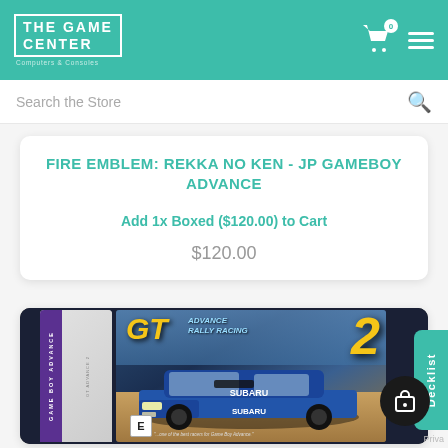THE GAME CENTER
Search the Store
FIRE EMBLEM: REKKA NO KEN - JP GAMEBOY ADVANCE
Add 1x Boxed ($120.00) to Cart
$120.00
[Figure (photo): GT Advance 2 Rally Racing Game Boy Advance cartridge box art showing a blue Subaru rally car racing]